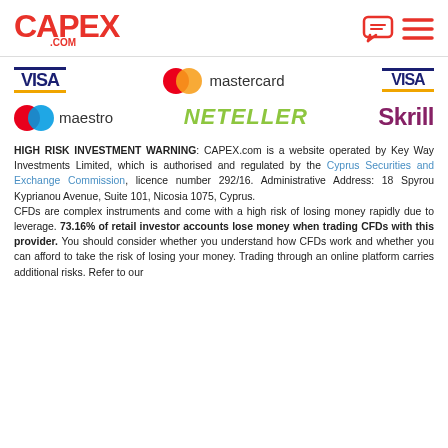CAPEX.COM
[Figure (logo): Payment method logos: Visa, Mastercard, Visa (Electron), Maestro, Neteller, Skrill]
HIGH RISK INVESTMENT WARNING: CAPEX.com is a website operated by Key Way Investments Limited, which is authorised and regulated by the Cyprus Securities and Exchange Commission, licence number 292/16. Administrative Address: 18 Spyrou Kyprianou Avenue, Suite 101, Nicosia 1075, Cyprus. CFDs are complex instruments and come with a high risk of losing money rapidly due to leverage. 73.16% of retail investor accounts lose money when trading CFDs with this provider. You should consider whether you understand how CFDs work and whether you can afford to take the risk of losing your money. Trading through an online platform carries additional risks. Refer to our